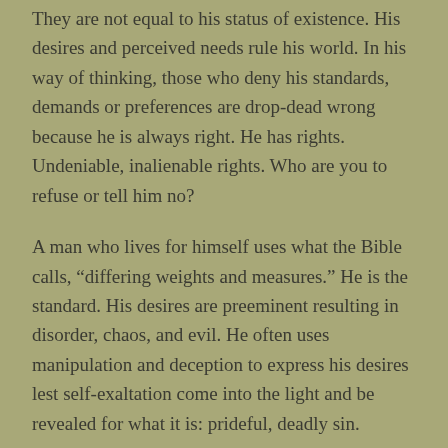They are not equal to his status of existence. His desires and perceived needs rule his world. In his way of thinking, those who deny his standards, demands or preferences are drop-dead wrong because he is always right. He has rights. Undeniable, inalienable rights. Who are you to refuse or tell him no?
A man who lives for himself uses what the Bible calls, “differing weights and measures.” He is the standard. His desires are preeminent resulting in disorder, chaos, and evil. He often uses manipulation and deception to express his desires lest self-exaltation come into the light and be revealed for what it is: prideful, deadly sin.
God doesn’t pull punches. He diagnoses and judges the problem this way: